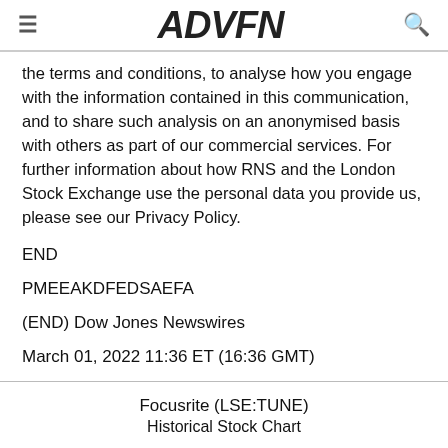ADVFN
the terms and conditions, to analyse how you engage with the information contained in this communication, and to share such analysis on an anonymised basis with others as part of our commercial services. For further information about how RNS and the London Stock Exchange use the personal data you provide us, please see our Privacy Policy.
END
PMEEAKDFEDSAEFA
(END) Dow Jones Newswires
March 01, 2022 11:36 ET (16:36 GMT)
Focusrite (LSE:TUNE)
Historical Stock Chart